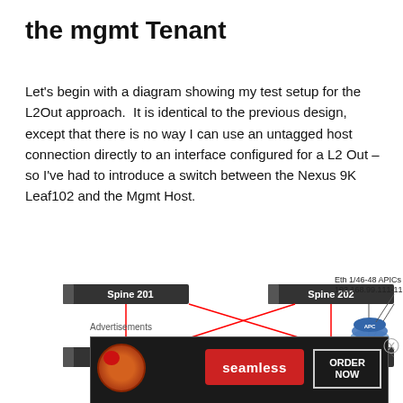the mgmt Tenant
Let's begin with a diagram showing my test setup for the L2Out approach.  It is identical to the previous design, except that there is no way I can use an untagged host connection directly to an interface configured for a L2 Out – so I've had to introduce a switch between the Nexus 9K Leaf102 and the Mgmt Host.
[Figure (network-graph): Network diagram showing Spine 201, Spine 202, Leaf 101, Leaf 102 connected with red cross-links. APCs device on right connected to Leaf 102. Label: Eth 1/46-48 APICs 192.168.99.111-113]
Advertisements
[Figure (other): Seamless food delivery advertisement with pizza image, Seamless logo in red, ORDER NOW button]